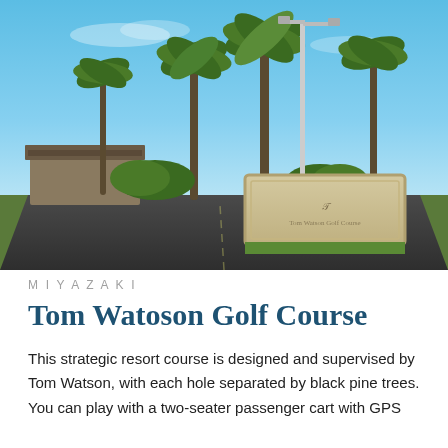[Figure (photo): Outdoor photo of Tom Watson Golf Course entrance. A large stone monument sign with the course name is visible, flanked by tall palm trees and other tropical vegetation. A double-arm street lamp stands behind the sign. A parking area and a low building are visible to the left. Blue sky with light clouds above.]
MIYAZAKI
Tom Watoson Golf Course
This strategic resort course is designed and supervised by Tom Watson, with each hole separated by black pine trees. You can play with a two-seater passenger cart with GPS